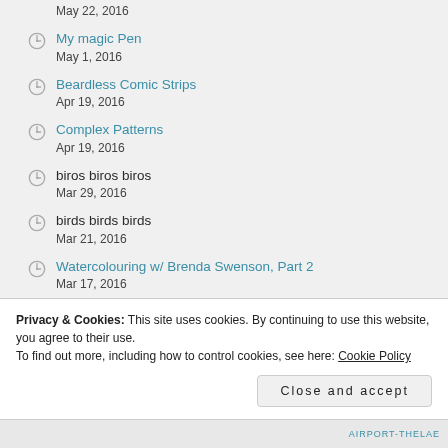May 22, 2016
My magic Pen
May 1, 2016
Beardless Comic Strips
Apr 19, 2016
Complex Patterns
Apr 19, 2016
biros biros biros
Mar 29, 2016
birds birds birds
Mar 21, 2016
Watercolouring w/ Brenda Swenson, Part 2
Mar 17, 2016
Privacy & Cookies: This site uses cookies. By continuing to use this website, you agree to their use.
To find out more, including how to control cookies, see here: Cookie Policy
Close and accept
AIRPORT-THELAE